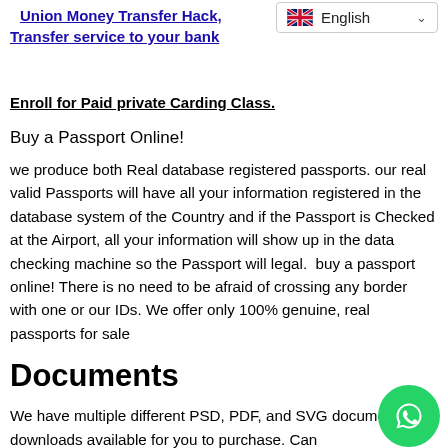Union Money Transfer Hack, Transfer service to your bank
[Figure (screenshot): Language selector dropdown showing UK flag and 'English' with a dropdown arrow]
Enroll for Paid private Carding Class.
Buy a Passport Online!
we produce both Real database registered passports. our real valid Passports will have all your information registered in the database system of the Country and if the Passport is Checked at the Airport, all your information will show up in the data checking machine so the Passport will legal.  buy a passport online! There is no need to be afraid of crossing any border with one or our IDs. We offer only 100% genuine, real passports for sale
Documents
We have multiple different PSD, PDF, and SVG document downloads available for you to purchase. Can
[Figure (logo): WhatsApp green circular button with white phone icon]